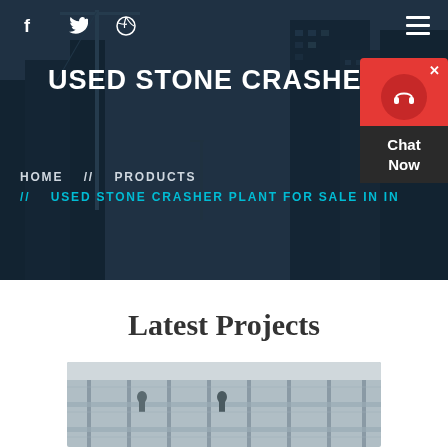[Figure (photo): Hero banner with dark overlay showing city buildings under construction with cranes]
f  (twitter)  (dribbble)  ≡
USED STONE CRASHER PLANT F
HOME  //  PRODUCTS  //  USED STONE CRASHER PLANT FOR SALE IN IN...
[Figure (infographic): Red and dark chat widget with headphone icon and Chat Now text]
Latest Projects
[Figure (photo): Construction site photo showing scaffolding and workers]